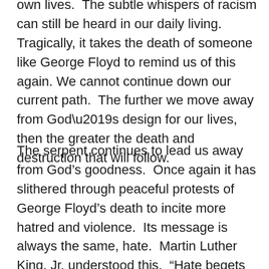own lives.  The subtle whispers of racism can still be heard in our daily living.  Tragically, it takes the death of someone like George Floyd to remind us of this again. We cannot continue down our current path.  The further we move away from God’s design for our lives, then the greater the death and destruction that will follow.
The serpent continues to lead us away from God’s goodness.  Once again it has slithered through peaceful protests of George Floyd’s death to incite more hatred and violence.  Its message is always the same, hate.  Martin Luther King, Jr. understood this.  “Hate begets hate; violence begets violence; toughness begets a greater toughness. We must meet the forces of hate with the power of love...”